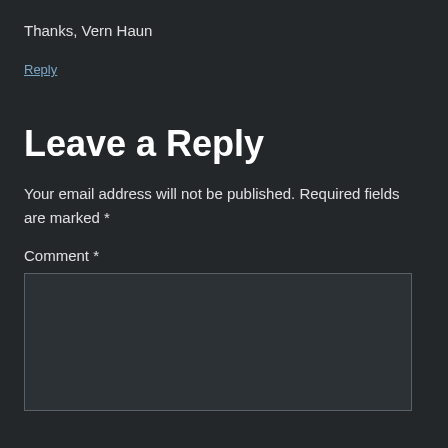Thanks, Vern Haun
Reply
Leave a Reply
Your email address will not be published. Required fields are marked *
Comment *